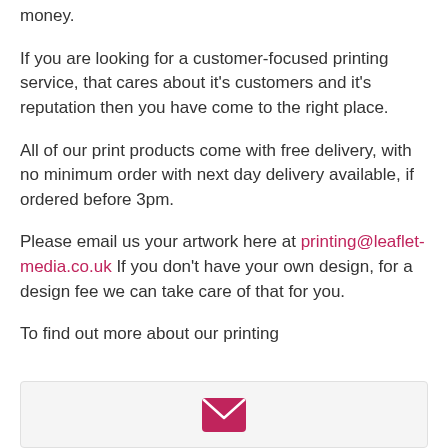money.
If you are looking for a customer-focused printing service, that cares about it's customers and it's reputation then you have come to the right place.
All of our print products come with free delivery, with no minimum order with next day delivery available, if ordered before 3pm.
Please email us your artwork here at printing@leaflet-media.co.uk If you don't have your own design, for a design fee we can take care of that for you.
To find out more about our printing
[Figure (other): Email/chat widget icon showing a pink envelope icon on a light grey background]